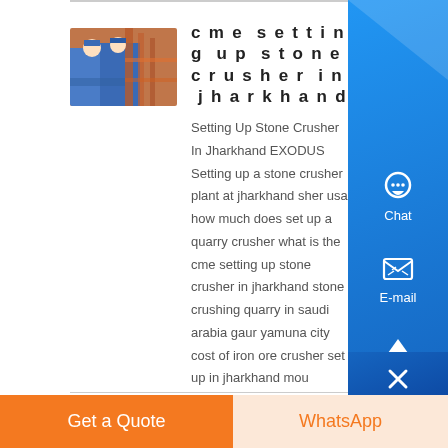[Figure (photo): Workers in blue uniforms operating industrial machinery, pink/orange colored equipment visible]
cme setting up stone crusher in jharkhand
Setting Up Stone Crusher In Jharkhand EXODUS Setting up a stone crusher plant at jharkhand sher usa how much does set up a quarry crusher what is the cme setting up stone crusher in jharkhand stone crushing quarry in saudi arabia gaur yamuna city cost of iron ore crusher set up in jharkhand mou agreement between government of jharkhand...
Know More
Get a Quote
WhatsApp